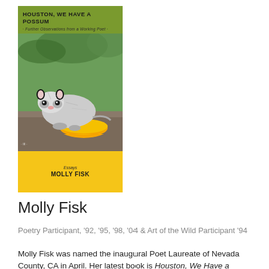[Figure (illustration): Book cover for 'Houston, We Have a Possum: Further Observations from a Working Poet' by Molly Fisk. Green top section with title, photo of a possum eating from a yellow bowl, yellow bottom section with 'Essays' and author name 'MOLLY FISK'.]
Molly Fisk
Poetry Participant, '92, '95, '98, '04 & Art of the Wild Participant '94
Molly Fisk was named the inaugural Poet Laureate of Nevada County, CA in April. Her latest book is Houston, We Have a Possum, Further Observations from